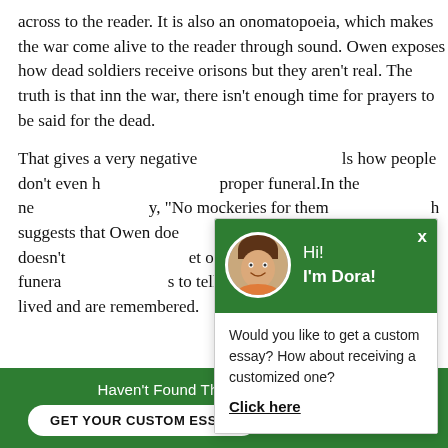across to the reader. It is also an onomatopoeia, which makes the war come alive to the reader through sound. Owen exposes how dead soldiers receive orisons but they aren't real. The truth is that inn the war, there isn't enough time for prayers to be said for the dead.
That gives a very negative... how people don't even have a proper funeral. In the next stanza, "No mockeries for them" which suggests that Owen does not value funerals and it doesn't... one of these big funerals... to tell us that the importance of how they lived and are remembered.
[Figure (screenshot): Chat popup with green header showing avatar of woman and greeting 'Hi! I'm Dora!' with body text 'Would you like to get a custom essay? How about receiving a customized one?' and bold underlined 'Click here' link. Green circular chat button in bottom right.]
Haven't Found The Essay You Want?
GET YOUR CUSTOM ESSAY   For Only $13.90/page